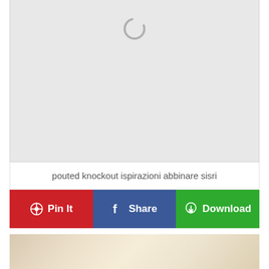[Figure (other): Loading spinner / image placeholder with grey background]
pouted knockout ispirazioni abbinare sisri
Pin It  Share  Download
[Figure (photo): Warm beige/cream toned photograph, partial view of interior or surface]